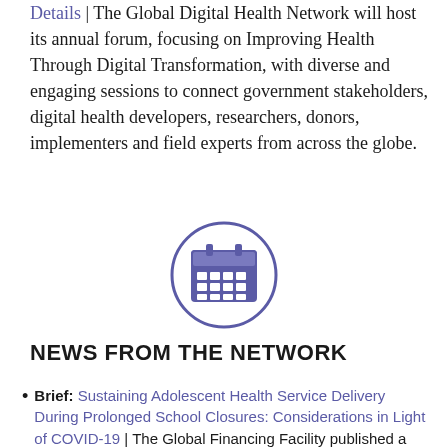…| The Global Digital Health Network will host its annual forum, focusing on Improving Health Through Digital Transformation, with diverse and engaging sessions to connect government stakeholders, digital health developers, researchers, donors, implementers and field experts from across the globe.
[Figure (illustration): A calendar icon inside a circle, rendered in purple/indigo color]
NEWS FROM THE NETWORK
Brief: Sustaining Adolescent Health Service Delivery During Prolonged School Closures: Considerations in Light of COVID-19 | The Global Financing Facility published a brief that provides